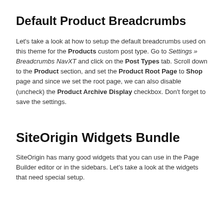Default Product Breadcrumbs
Let's take a look at how to setup the default breadcrumbs used on this theme for the Products custom post type. Go to Settings » Breadcrumbs NavXT and click on the Post Types tab. Scroll down to the Product section, and set the Product Root Page to Shop page and since we set the root page, we can also disable (uncheck) the Product Archive Display checkbox. Don't forget to save the settings.
SiteOrigin Widgets Bundle
SiteOrigin has many good widgets that you can use in the Page Builder editor or in the sidebars. Let's take a look at the widgets that need special setup.